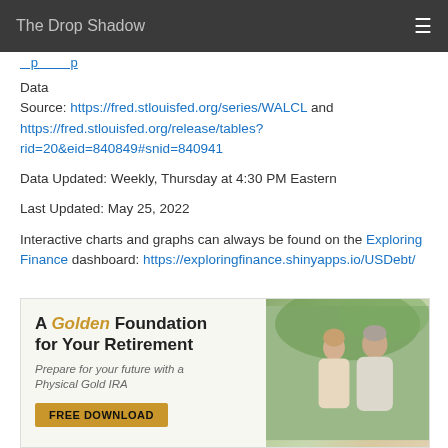The Drop Shadow
Data Source: https://fred.stlouisfed.org/series/WALCL and https://fred.stlouisfed.org/release/tables?rid=20&eid=840849#snid=840941
Data Updated: Weekly, Thursday at 4:30 PM Eastern
Last Updated: May 25, 2022
Interactive charts and graphs can always be found on the Exploring Finance dashboard: https://exploringfinance.shinyapps.io/USDebt/
[Figure (photo): Advertisement banner: 'A Golden Foundation for Your Retirement - Prepare for your future with a Physical Gold IRA - FREE DOWNLOAD' with image of older couple smiling]